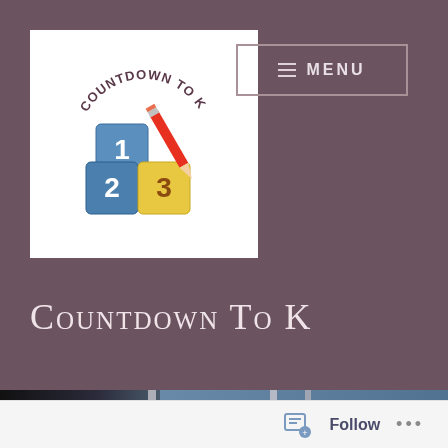[Figure (logo): Countdown To K logo with colorful alphabet blocks (1, 2, 3) and a red pencil on a white background, circular text reading COUNTDOWN TO K]
Countdown To K
≡  MENU
[Figure (photo): A smiling school bus driver in a blue shirt seated in the bus, greeting a young girl with braids and a colorful backpack who is boarding the school bus]
Follow ...